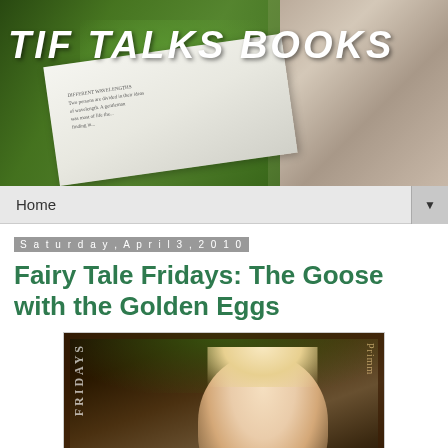[Figure (photo): Blog header banner for 'TIF TALKS BOOKS' showing a book open in a garden setting with green foliage and rocks]
Home ▼
Saturday, April 3, 2010
Fairy Tale Fridays: The Goose with the Golden Eggs
[Figure (photo): Book cover image showing a blonde woman with floral headpiece, with 'Fridays' text visible on left side]